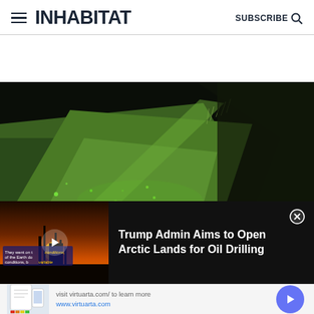INHABITAT — SUBSCRIBE
[Figure (photo): Close-up macro photo of a green leaf surface with fine hairs, glowing green particles and a dark diagonal edge cutting across the frame. High contrast macro photography with dark background.]
[Figure (screenshot): Video overlay bar with thumbnail of industrial oil drilling silhouette at sunset with orange sky, and text overlay reading 'Trump Admin Aims to Open Arctic Lands for Oil Drilling']
Trump Admin Aims to Open Arctic Lands for Oil Drilling
visit virtuarta.com/ to learn more
www.virtuarta.com